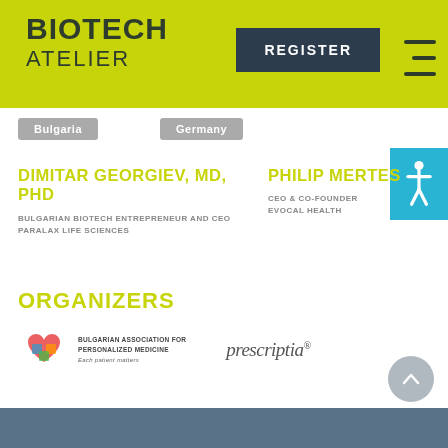BIOTECH ATELIER
Bulgaria
Germany
DIMITAR GEORGIEV, MD, PHD
BULGARIAN BIOTECH ENTREPRENEUR AND CEO
PARALAX LIFE SCIENCES
PHILIP MERTES
CEO & CO-FOUNDER
EVOCAL HEALTH
ORGANIZERS
[Figure (logo): Bulgarian Association for Personalized Medicine logo with heart puzzle icon]
[Figure (logo): Prescriptia logo in italic script]